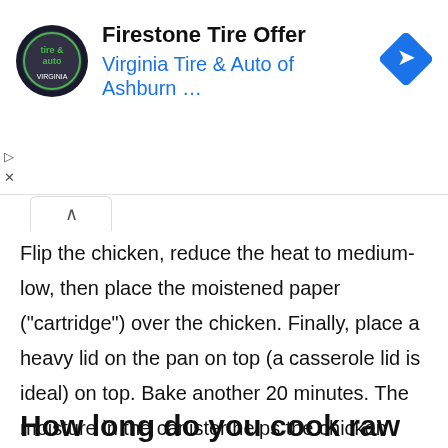[Figure (advertisement): Firestone Tire Offer ad banner with Virginia Tire & Auto of Ashburn logo, text, and blue navigation arrow icon]
Flip the chicken, reduce the heat to medium-low, then place the moistened paper (“cartridge”) over the chicken. Finally, place a heavy lid on the pan on top (a casserole lid is ideal) on top. Bake another 20 minutes. The moisture in the canister helps the chicken stay moist and prevents it from burning.
How long do you cook raw